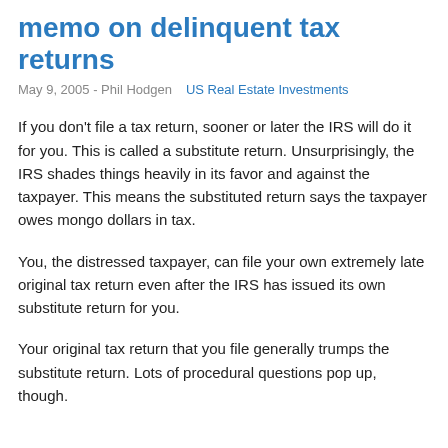memo on delinquent tax returns
May 9, 2005 - Phil Hodgen   US Real Estate Investments
If you don't file a tax return, sooner or later the IRS will do it for you. This is called a substitute return. Unsurprisingly, the IRS shades things heavily in its favor and against the taxpayer. This means the substituted return says the taxpayer owes mongo dollars in tax.
You, the distressed taxpayer, can file your own extremely late original tax return even after the IRS has issued its own substitute return for you.
Your original tax return that you file generally trumps the substitute return. Lots of procedural questions pop up, though.